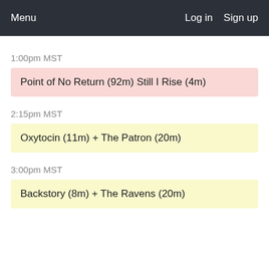Menu   Log in   Sign up
1:00pm MST
Point of No Return (92m) Still I Rise (4m)
2:15pm MST
Oxytocin (11m) + The Patron (20m)
3:00pm MST
Backstory (8m) + The Ravens (20m)